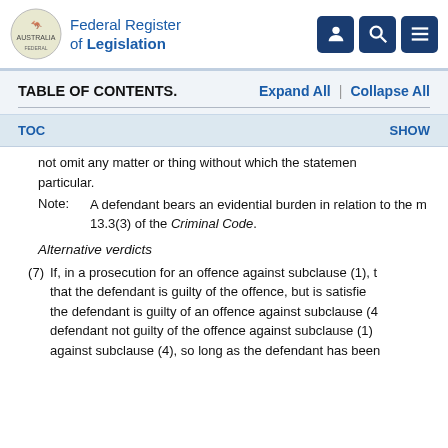Federal Register of Legislation
TABLE OF CONTENTS.   Expand All  |  Collapse All
TOC    SHOW
not omit any matter or thing without which the statement would be misleading in that particular.
Note: A defendant bears an evidential burden in relation to the matter in subsection 13.3(3) of the Criminal Code.
Alternative verdicts
(7) If, in a prosecution for an offence against subclause (1), the trier of fact is not satisfied that the defendant is guilty of the offence, but is satisfied beyond reasonable doubt that the defendant is guilty of an offence against subclause (4), the trier of fact may find the defendant not guilty of the offence against subclause (1) and guilty of the offence against subclause (4), so long as the defendant has been